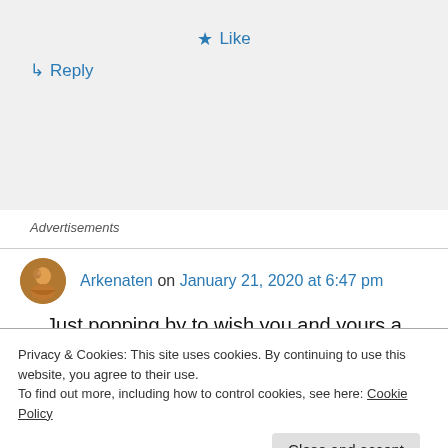Like
Reply
Advertisements
Arkenaten on January 21, 2020 at 6:47 pm
Just popping by to wish you and yours a belated
Privacy & Cookies: This site uses cookies. By continuing to use this website, you agree to their use.
To find out more, including how to control cookies, see here: Cookie Policy
Close and accept